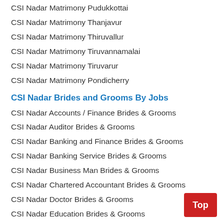CSI Nadar Matrimony Pudukkottai
CSI Nadar Matrimony Thanjavur
CSI Nadar Matrimony Thiruvallur
CSI Nadar Matrimony Tiruvannamalai
CSI Nadar Matrimony Tiruvarur
CSI Nadar Matrimony Pondicherry
CSI Nadar Brides and Grooms By Jobs
CSI Nadar Accounts / Finance Brides & Grooms
CSI Nadar Auditor Brides & Grooms
CSI Nadar Banking and Finance Brides & Grooms
CSI Nadar Banking Service Brides & Grooms
CSI Nadar Business Man Brides & Grooms
CSI Nadar Chartered Accountant Brides & Grooms
CSI Nadar Doctor Brides & Grooms
CSI Nadar Education Brides & Grooms
CSI Nadar Engineer-Non IT Brides & Grooms
CSI Nadar Government Job Brides & Grooms
CSI Nadar IT and Engineering Brides & Grooms